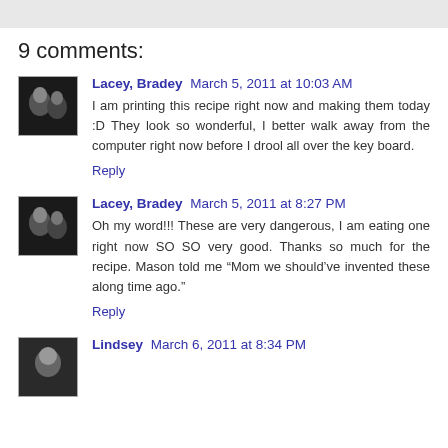9 comments:
Lacey, Bradey March 5, 2011 at 10:03 AM
I am printing this recipe right now and making them today :D They look so wonderful, I better walk away from the computer right now before I drool all over the key board.
Reply
Lacey, Bradey March 5, 2011 at 8:27 PM
Oh my word!!! These are very dangerous, I am eating one right now SO SO very good. Thanks so much for the recipe. Mason told me “Mom we should've invented these along time ago.”
Reply
Lindsey March 6, 2011 at 8:34 PM